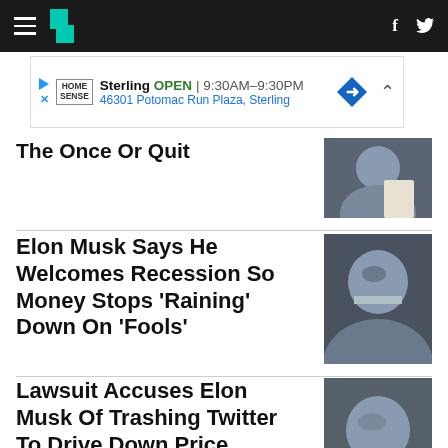HuffPost navigation bar with hamburger menu, logo, Facebook and Twitter icons
[Figure (screenshot): Advertisement banner for Home Sense store in Sterling, showing store hours OPEN 9:30AM-9:30PM and address 46301 Potomac Run Plaza, Sterling]
The Once Or Quit
Elon Musk Says He Welcomes Recession So Money Stops 'Raining' Down On 'Fools'
Lawsuit Accuses Elon Musk Of Trashing Twitter To Drive Down Price